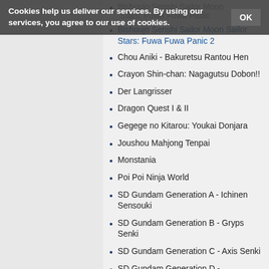Cookies help us deliver our services. By using our services, you agree to our use of cookies. OK
Bishoujo Senshi Sailor Moon Sailor Stars: Fuwa Fuwa Panic 2
Chou Aniki - Bakuretsu Rantou Hen
Crayon Shin-chan: Nagagutsu Dobon!!
Der Langrisser
Dragon Quest I & II
Gegege no Kitarou: Youkai Donjara
Joushou Mahjong Tenpai
Monstania
Poi Poi Ninja World
SD Gundam Generation A - Ichinen Sensouki
SD Gundam Generation B - Gryps Senki
SD Gundam Generation C - Axis Senki
SD Gundam Generation D -